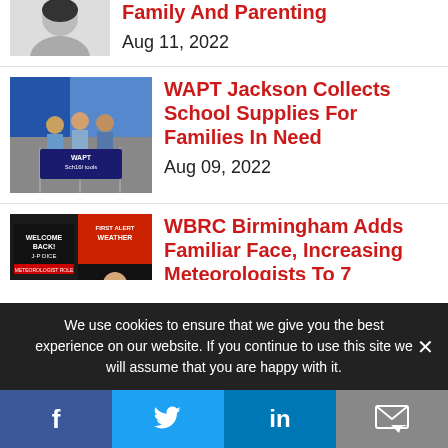[Figure (photo): Partial photo of a person (face/shoulders) at top left]
Family And Parenting
Aug 11, 2022
[Figure (photo): People holding WAPT School Tools sign in a parking lot near blue tent]
WAPT Jackson Collects School Supplies For Families In Need
Aug 09, 2022
[Figure (photo): WBRC First Alert Weather welcome back JP Dice graphic with meteorologist]
WBRC Birmingham Adds Familiar Face, Increasing Meteorologists To 7
We use cookies to ensure that we give you the best experience on our website. If you continue to use this site we will assume that you are happy with it.
f  Twitter  in  Email